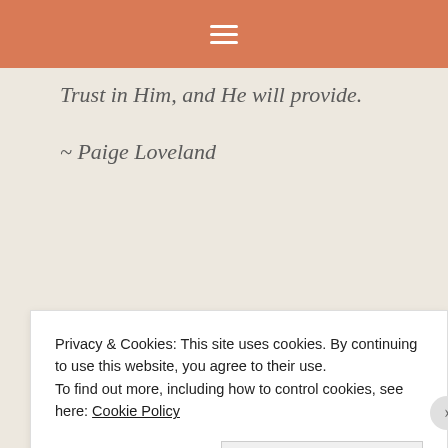☰
Trust in Him, and He will provide.
~ Paige Loveland
Share this:
Privacy & Cookies: This site uses cookies. By continuing to use this website, you agree to their use.
To find out more, including how to control cookies, see here: Cookie Policy
Close and accept